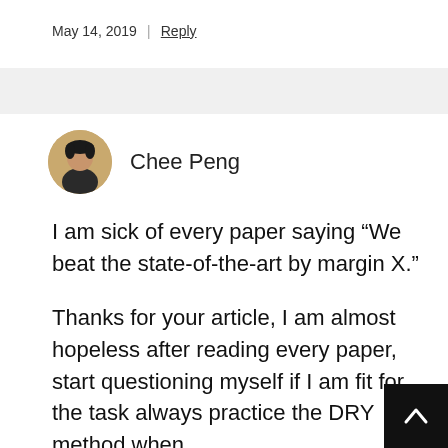May 14, 2019 | Reply
[Figure (photo): Avatar photo of Chee Peng, a person in dark clothing with warm background]
Chee Peng
I am sick of every paper saying “We beat the state-of-the-art by margin X.”
Thanks for your article, I am almost hopeless after reading every paper, start questioning myself if I am fit for the task always practice the DRY method when